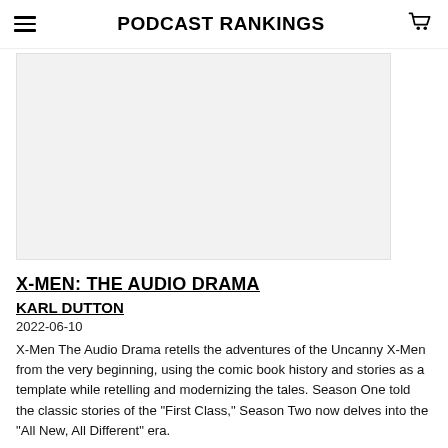PODCAST RANKINGS
[Figure (photo): Light gray/white podcast artwork placeholder image]
X-MEN: THE AUDIO DRAMA
KARL DUTTON
2022-06-10
X-Men The Audio Drama retells the adventures of the Uncanny X-Men from the very beginning, using the comic book history and stories as a template while retelling and modernizing the tales. Season One told the classic stories of the "First Class," Season Two now delves into the "All New, All Different" era.
[Figure (photo): Black image at the bottom, partially visible]